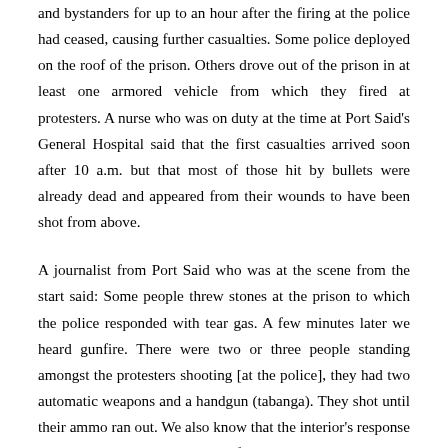and bystanders for up to an hour after the firing at the police had ceased, causing further casualties. Some police deployed on the roof of the prison. Others drove out of the prison in at least one armored vehicle from which they fired at protesters. A nurse who was on duty at the time at Port Said's General Hospital said that the first casualties arrived soon after 10 a.m. but that most of those hit by bullets were already dead and appeared from their wounds to have been shot from above.
A journalist from Port Said who was at the scene from the start said: Some people threw stones at the prison to which the police responded with tear gas. A few minutes later we heard gunfire. There were two or three people standing amongst the protesters shooting [at the police], they had two automatic weapons and a handgun (tabanga). They shot until their ammo ran out. We also know that the interior's response is always violent, but this was far more than just violence, this was stupidity. There were around four to six policemen with guns standing on the roof of the prison